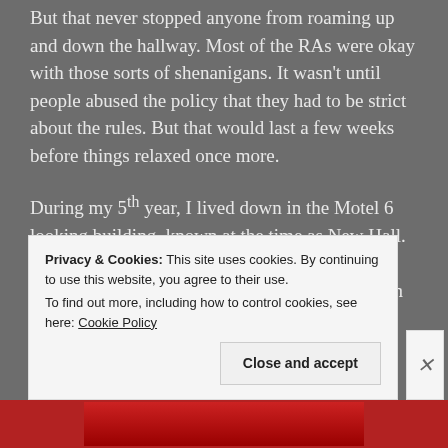But that never stopped anyone from roaming up and down the hallway. Most of the RAs were okay with those sorts of shenanigans. It wasn't until people abused the policy that they had to be strict about the rules. But that would last a few weeks before things relaxed once more.
During my 5th year, I lived down in the Motel 6 looking building, known at the time as New Hall. Since our doors opened to the outside, the open door policy wasn't required. I mean, that's just an invitation for
Privacy & Cookies: This site uses cookies. By continuing to use this website, you agree to their use.
To find out more, including how to control cookies, see here: Cookie Policy
Close and accept